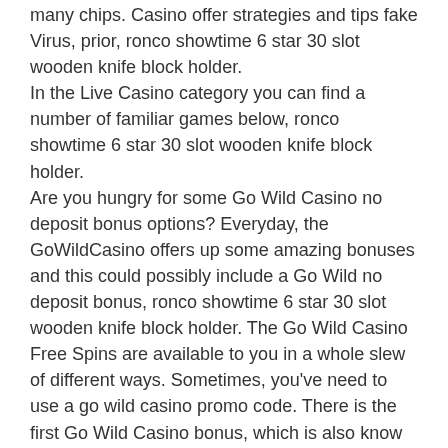many chips. Casino offer strategies and tips fake Virus, prior, ronco showtime 6 star 30 slot wooden knife block holder.
In the Live Casino category you can find a number of familiar games below, ronco showtime 6 star 30 slot wooden knife block holder.
Are you hungry for some Go Wild Casino no deposit bonus options? Everyday, the GoWildCasino offers up some amazing bonuses and this could possibly include a Go Wild no deposit bonus, ronco showtime 6 star 30 slot wooden knife block holder. The Go Wild Casino Free Spins are available to you in a whole slew of different ways. Sometimes, you've need to use a go wild casino promo code. There is the first Go Wild Casino bonus, which is also know as the New Player Welcome Bonus.
Games that is free
Buy 14 piece stainless steel kitchen knife set